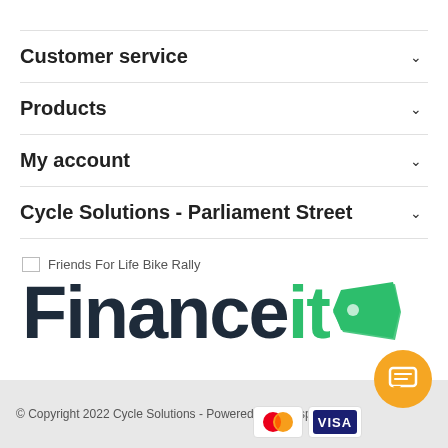Customer service
Products
My account
Cycle Solutions - Parliament Street
[Figure (logo): Friends For Life Bike Rally broken image placeholder followed by Financeit logo in dark navy and green colors with a green price-tag icon]
© Copyright 2022 Cycle Solutions - Powered by Lightspeed